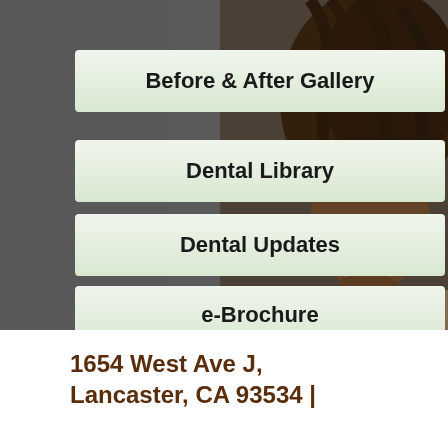[Figure (photo): Dark background with a person's face/head visible on the right side, appearing to be a dental patient, with dark curly hair]
Before & After Gallery
Dental Library
Dental Updates
e-Brochure
1654 West Ave J, Lancaster, CA 93534 |